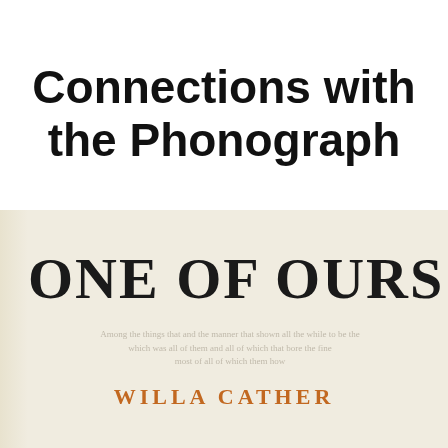Connections with the Phonograph
[Figure (photo): Title page of the book 'One of Ours' by Willa Cather, showing large serif text 'ONE OF OURS' and author name 'WILLA CATHER' in orange/rust colored text, on aged cream-colored paper.]